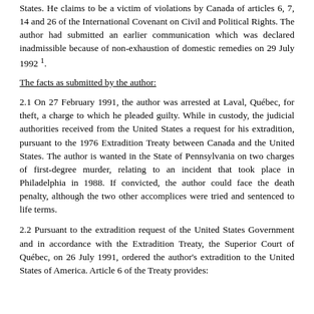States. He claims to be a victim of violations by Canada of articles 6, 7, 14 and 26 of the International Covenant on Civil and Political Rights. The author had submitted an earlier communication which was declared inadmissible because of non-exhaustion of domestic remedies on 29 July 1992 1.
The facts as submitted by the author:
2.1 On 27 February 1991, the author was arrested at Laval, Québec, for theft, a charge to which he pleaded guilty. While in custody, the judicial authorities received from the United States a request for his extradition, pursuant to the 1976 Extradition Treaty between Canada and the United States. The author is wanted in the State of Pennsylvania on two charges of first-degree murder, relating to an incident that took place in Philadelphia in 1988. If convicted, the author could face the death penalty, although the two other accomplices were tried and sentenced to life terms.
2.2 Pursuant to the extradition request of the United States Government and in accordance with the Extradition Treaty, the Superior Court of Québec, on 26 July 1991, ordered the author's extradition to the United States of America. Article 6 of the Treaty provides: